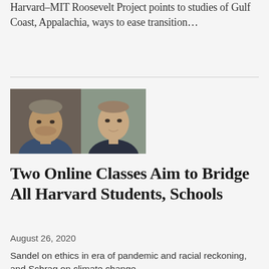Harvard–MIT Roosevelt Project points to studies of Gulf Coast, Appalachia, ways to ease transition…
[Figure (photo): Two headshots side by side — an older man on the left and a younger man on the right]
Two Online Classes Aim to Bridge All Harvard Students, Schools
August 26, 2020
Sandel on ethics in era of pandemic and racial reckoning, and Schrag on climate change…